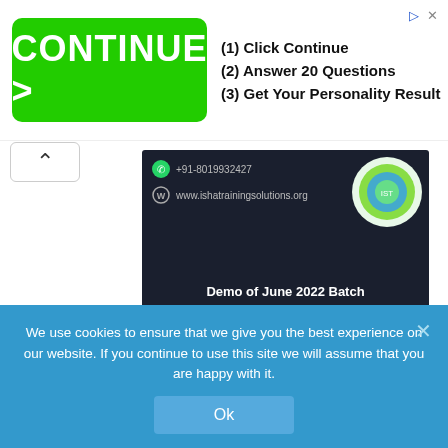[Figure (screenshot): Advertisement banner with green CONTINUE > button and text listing steps: (1) Click Continue, (2) Answer 20 Questions, (3) Get Your Personality Result]
[Figure (screenshot): Dark card screenshot showing ishatrainingsolutions.org website with phone number +91-8019932427 and a green/blue circular logo, with caption 'Demo of June 2022 Batch']
Training: LoadRunner Tool Training
Demo 1: 1 Sep 2022
Demo 2: 2 Sep 2022
Regular Session: 5 Sep 2022
We use cookies to ensure that we give you the best experience on our website. If you continue to use this site we will assume that you are happy with it.